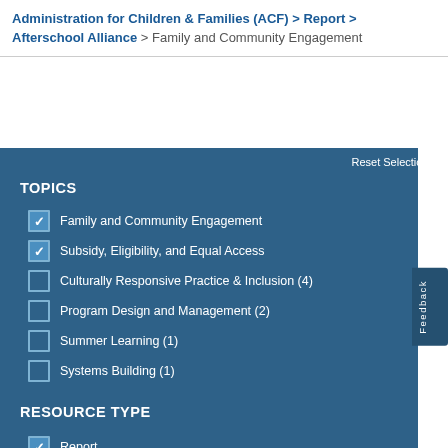Administration for Children & Families (ACF) > Report > Afterschool Alliance > Family and Community Engagement
TOPICS
Family and Community Engagement (checked)
Subsidy, Eligibility, and Equal Access (checked)
Culturally Responsive Practice & Inclusion (4)
Program Design and Management (2)
Summer Learning (1)
Systems Building (1)
RESOURCE TYPE
Report (checked)
Issue brief (1)
Other (1)
Tool kit (1)